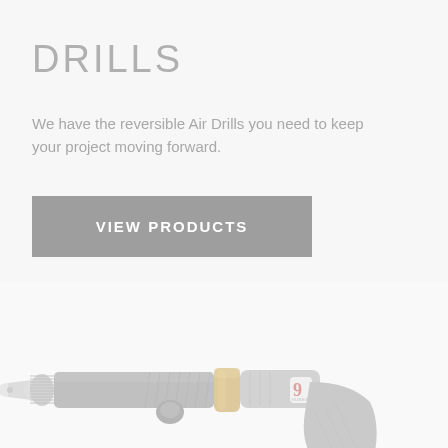DRILLS
We have the reversible Air Drills you need to keep your project moving forward.
VIEW PRODUCTS
[Figure (photo): A Sunex reversible air drill shown in a washed-out light gray and gold color scheme, viewed from the side with the chuck on the left and pistol grip on the right.]